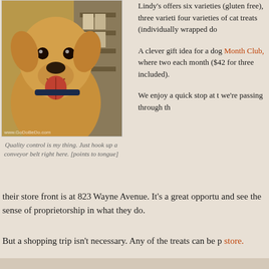[Figure (photo): Golden retriever dog smiling at camera inside what appears to be a store or warehouse with shelving in background. Watermark reads www.GoDoBeDo.com]
Quality control is my thing. Just hook up a conveyor belt right here. [points to tongue]
Lindy’s offers six varieties (gluten free), three varieti four varieties of cat treats (individually wrapped do
A clever gift idea for a dog Month Club, where two each month ($42 for three included).
We enjoy a quick stop at t we’re passing through th their store front is at 823 Wayne Avenue. It’s a great opportu and see the sense of proprietorship in what they do.
But a shopping trip isn’t necessary. Any of the treats can be p store.